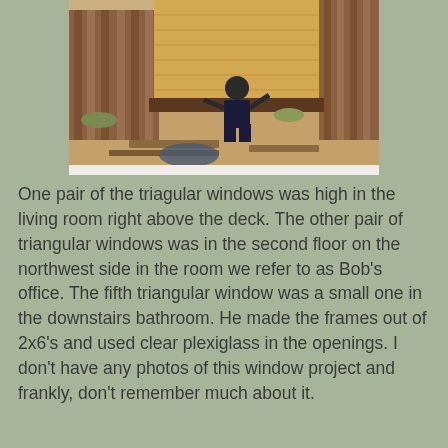[Figure (photo): Vintage photograph showing a construction site exterior. A person is kneeling near wooden beams and sandy/dirt ground beside a building with wood siding. Stacked lumber and a wooden fence or wall are visible in the background.]
One pair of the triagular windows was high in the living room right above the deck. The other pair of triangular windows was in the second floor on the northwest side in the room we refer to as Bob's office. The fifth triangular window was a small one in the downstairs bathroom. He made the frames out of 2x6's and used clear plexiglass in the openings. I don't have any photos of this window project and frankly, don't remember much about it.